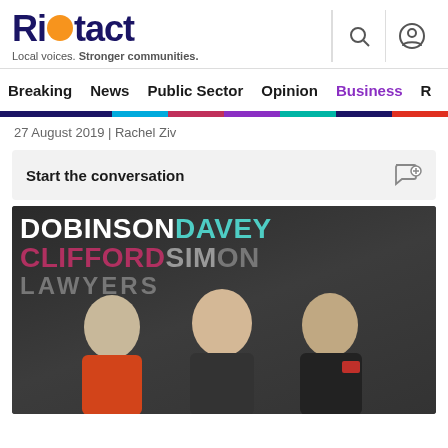Riotact — Local voices. Stronger communities.
Breaking  News  Public Sector  Opinion  Business  R
27 August 2019 | Rachel Ziv
Start the conversation
[Figure (photo): Three women standing in front of a dark wall with the Dobinson Davey Clifford Simpson Lawyers law firm signage in white, teal, pink, and grey lettering.]